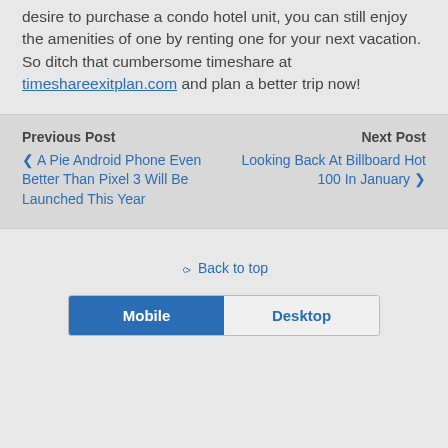desire to purchase a condo hotel unit, you can still enjoy the amenities of one by renting one for your next vacation. So ditch that cumbersome timeshare at timeshareexitplan.com and plan a better trip now!
Previous Post
< A Pie Android Phone Even Better Than Pixel 3 Will Be Launched This Year
Next Post
Looking Back At Billboard Hot 100 In January >
Back to top
Mobile
Desktop